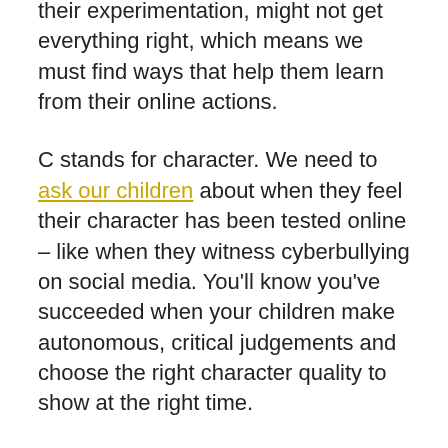their experimentation, might not get everything right, which means we must find ways that help them learn from their online actions.
C stands for character. We need to ask our children about when they feel their character has been tested online – like when they witness cyberbullying on social media. You'll know you've succeeded when your children make autonomous, critical judgements and choose the right character quality to show at the right time.
T stands for thrive. If we can successfully make and enforce ground rules, be an exemplar, be an adviser, and be a character champion, then we will help our children thrive online...